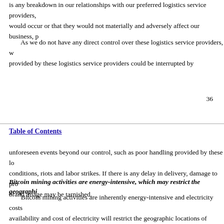is any breakdown in our relationships with our preferred logistics service providers, would occur or that they would not materially and adversely affect our business, p
As we do not have any direct control over these logistics service providers, w provided by these logistics service providers could be interrupted by
36
Table of Contents
unforeseen events beyond our control, such as poor handling provided by these lo conditions, riots and labor strikes. If there is any delay in delivery, damage to pro brand image may be tarnished.
Bitcoin mining activities are energy-intensive, which may restrict the geographic
Bitcoin mining activities are inherently energy-intensive and electricity costs availability and cost of electricity will restrict the geographic locations of mining a cost in a jurisdiction may negatively impact the viability and the expected econom in turn decrease the sales of our Bitcoin mining machines in that jurisdiction.
In addition, the significant consumption of electricity may have a negative e may give rise to public opinion against allowing the use of electricity for Bitcoin m use of electricity for Bitcoin mining activities. Any such development in the jurisd material and adverse effect on our business, financial condition and results of oper